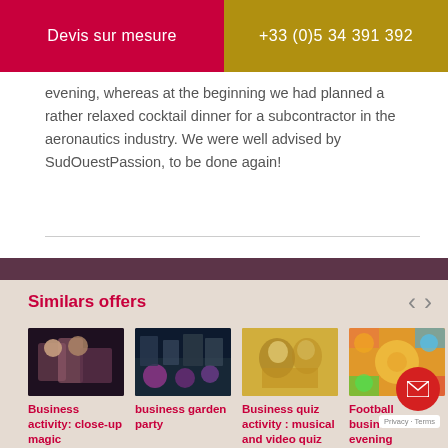Devis sur mesure | +33 (0)5 34 391 392
evening, whereas at the beginning we had planned a rather relaxed cocktail dinner for a subcontractor in the aeronautics industry. We were well advised by SudOuestPassion, to be done again!
Similars offers
[Figure (photo): Business activity close-up magic entertainment thumbnail]
Business activity: close-up magic entertainment
[Figure (photo): Business garden party thumbnail]
business garden party
[Figure (photo): Business quiz activity musical and video quiz thumbnail]
Business quiz activity : musical and video quiz
[Figure (photo): Football business evening thumbnail]
Football business evening